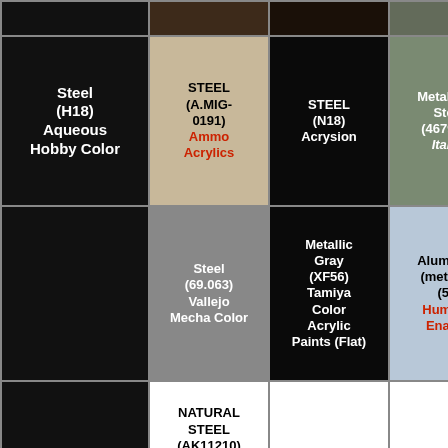| Color | Ammo/AK | Tamiya/Acrysion | Humbrol/Italeri | Vallejo |
| --- | --- | --- | --- | --- |
| Steel (H18) Aqueous Hobby Color | STEEL (A.MIG-0191) Ammo Acrylics | STEEL (N18) Acrysion | Metal. Flat Steel (4679AP) Italeri | Chain Silver (72.0...) Vallejo Game Color |
|  | Steel (69.063) Vallejo Mecha Color | Metallic Gray (XF56) Tamiya Color Acrylic Paints (Flat) | Aluminum (metallic) (56) Humbrol Enamel | Aluminum (metallic) (56) Humbrol Acrylic |
|  | NATURAL STEEL (AK11210) AK 3rd Gen Acrylics |  |  |  |
|  | Flesh (C51) | Flat Flesh (XF15) Tamiya Color | Cork Brown (70.843) Vallejo | Skin Tone (71.0...) Vallejo |